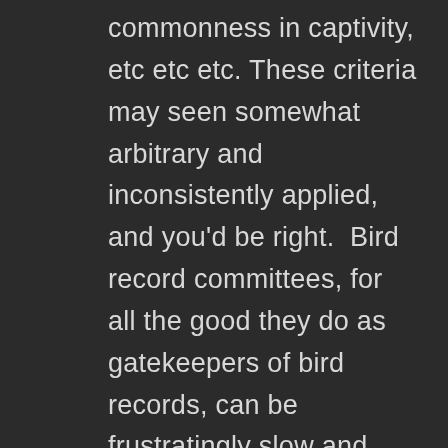commonness in captivity, etc etc etc. These criteria may seen somewhat arbitrary and inconsistently applied, and you'd be right.  Bird record committees, for all the good they do as gatekeepers of bird records, can be frustratingly slow and often opaque in their actions.  But the bottom line is that it's exceptionally hard even for bird committees, who consist of experienced birders, to figure out where waterfowl like White-cheeked Pintail coming from. But here's the dirty little secret…